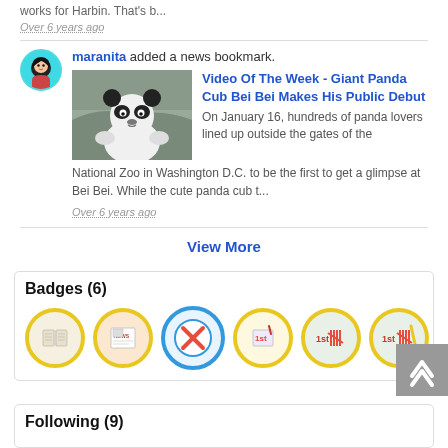works for Harbin. That's b...
Over 6 years ago
maranita added a news bookmark.
[Figure (photo): Giant panda cub sitting among rocks]
Video Of The Week - Giant Panda Cub Bei Bei Makes His Public Debut
On January 16, hundreds of panda lovers lined up outside the gates of the National Zoo in Washington D.C. to be the first to get a glimpse at Bei Bei. While the cute panda cub t...
Over 6 years ago
View More
Badges (6)
[Figure (illustration): Six badge icons in a row: open book, newspaper, question mark X, 1st place notebook, and two tally/score badges]
Following (9)